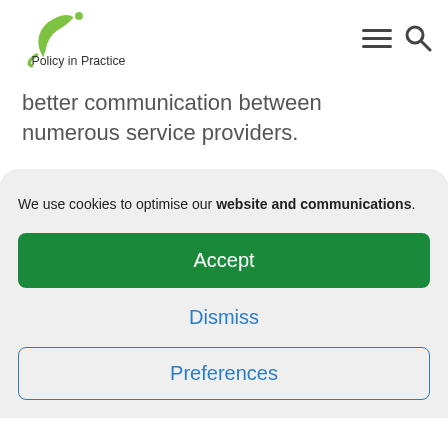Policy in Practice
better communication between numerous service providers.
We use cookies to optimise our website and communications.
Accept
Dismiss
Preferences